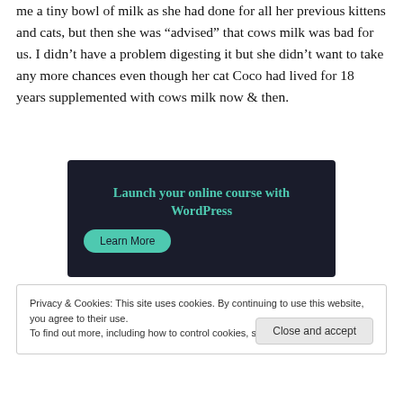me a tiny bowl of milk as she had done for all her previous kittens and cats, but then she was “advised” that cows milk was bad for us. I didn’t have a problem digesting it but she didn’t want to take any more chances even though her cat Coco had lived for 18 years supplemented with cows milk now & then.
[Figure (other): Advertisement banner with dark background showing 'Launch your online course with WordPress' text in teal and a 'Learn More' button]
Privacy & Cookies: This site uses cookies. By continuing to use this website, you agree to their use.
To find out more, including how to control cookies, see here: Cookie Policy